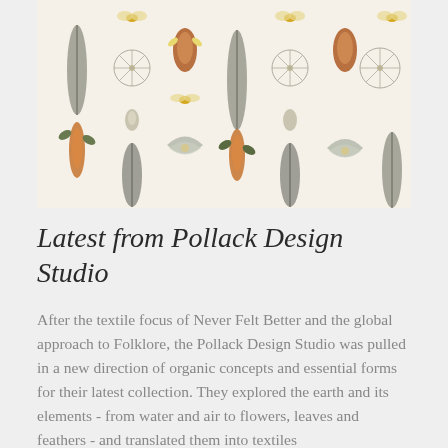[Figure (illustration): A fabric/wallpaper pattern on a cream/beige background featuring botanical and natural motifs: orange flowers, grey feathers, dandelions, insects (bees/butterflies), seed pods, and leaves arranged in a repeating vertical stripe pattern.]
Latest from Pollack Design Studio
After the textile focus of Never Felt Better and the global approach to Folklore, the Pollack Design Studio was pulled in a new direction of organic concepts and essential forms for their latest collection. They explored the earth and its elements - from water and air to flowers, leaves and feathers - and translated them into textiles